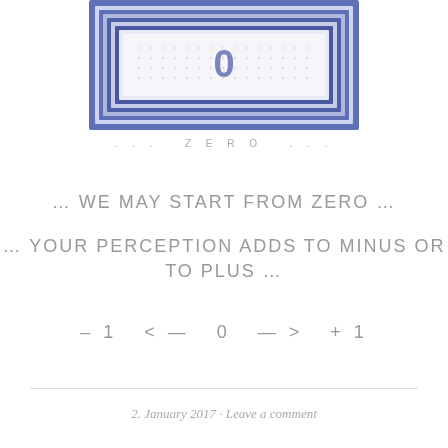[Figure (illustration): A blue and white cross-stitch or woven textile artwork showing the number zero (0) in a rectangular frame with decorative border pattern in blue thread on white fabric]
. . . ZERO . . .
… WE MAY START FROM ZERO …
… YOUR PERCEPTION ADDS TO MINUS OR TO PLUS …
– 1   < —   0   — >   + 1
2. January 2017 · Leave a comment